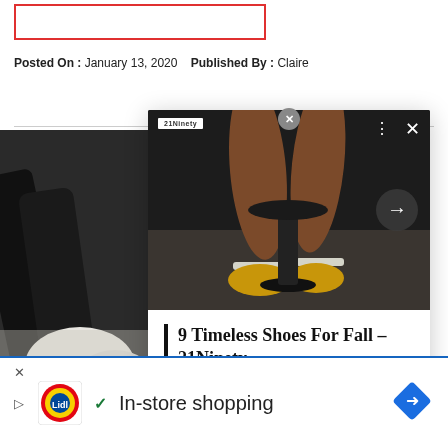[Figure (other): Red outlined rectangle at top of page, partially visible]
Posted On : January 13, 2020   Published By : Claire
[Figure (screenshot): A popup/overlay card showing legs wearing yellow socks and shoes, with a forward arrow button, a small logo, three-dots menu button, and X close button. Below the image: '9 Timeless Shoes For Fall – 21Ninety' in bold serif font with a left border. Behind the card is a partial background image of a dark bag/chair scene.]
[Figure (other): Ad bar at bottom: Lidl logo, checkmark, 'In-store shopping' text, navigation arrow icon in blue diamond. Play/close controls on left.]